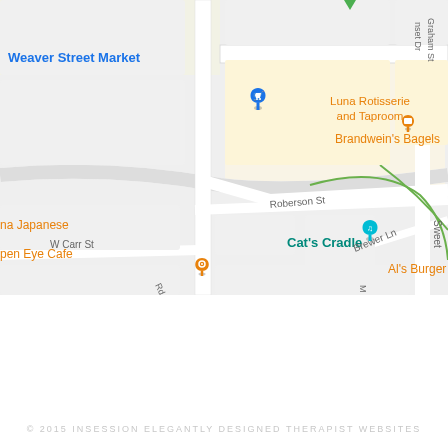[Figure (map): Google Maps screenshot showing a street map of Carrboro/Chapel Hill, NC area featuring landmarks including Weaver Street Market, Luna Rotisserie and Taproom, Brandwein's Bagels, Cat's Cradle, Al's Burger Shack, Open Eye Cafe, and streets including Roberson St, W Carr St, Brewer Ln, and Sweet street. Map pins in blue, orange, teal, and pink are visible.]
© 2015 INSESSION ELEGANTLY DESIGNED THERAPIST WEBSITES